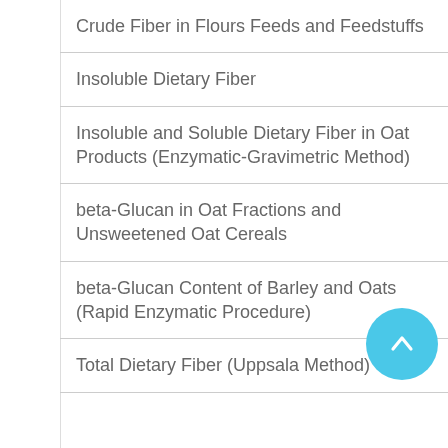| Crude Fiber in Flours Feeds and Feedstuffs |
| Insoluble Dietary Fiber |
| Insoluble and Soluble Dietary Fiber in Oat Products (Enzymatic-Gravimetric Method) |
| beta-Glucan in Oat Fractions and Unsweetened Oat Cereals |
| beta-Glucan Content of Barley and Oats (Rapid Enzymatic Procedure) |
| Total Dietary Fiber (Uppsala Method) |